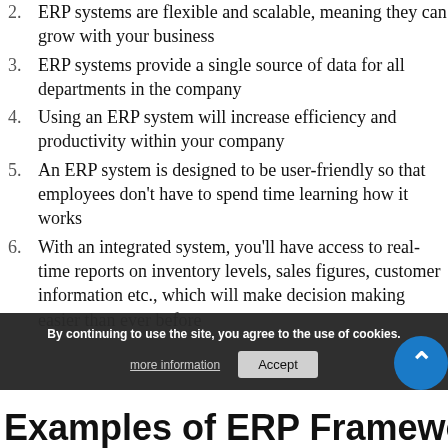2. ERP systems are flexible and scalable, meaning they can grow with your business
3. ERP systems provide a single source of data for all departments in the company
4. Using an ERP system will increase efficiency and productivity within your company
5. An ERP system is designed to be user-friendly so that employees don't have to spend time learning how it works
6. With an integrated system, you'll have access to real-time reports on inventory levels, sales figures, customer information etc., which will make decision making easier than ever before
By continuing to use the site, you agree to the use of cookies.
more information   Accept
Examples of ERP Frameworks